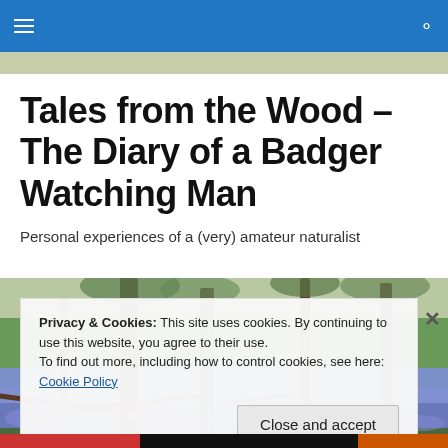Navigation bar with hamburger menu and search icon
Tales from the Wood – The Diary of a Badger Watching Man
Personal experiences of a (very) amateur naturalist
[Figure (photo): Woodland floor covered in bluebells with bare tree trunks and fallen branches]
Privacy & Cookies: This site uses cookies. By continuing to use this website, you agree to their use.
To find out more, including how to control cookies, see here: Cookie Policy
Close and accept